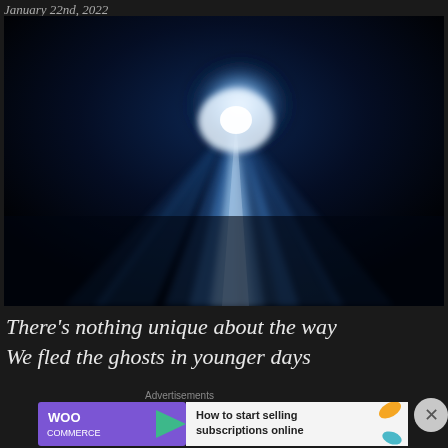January 22nd, 2022
[Figure (photo): A comet or light phenomenon against a dark black background — bright white-blue light radiating outward with streaking rays fanning downward against near-black deep blue tones.]
There's nothing unique about the way
We fled the ghosts in younger days
Advertisements
[Figure (other): WooCommerce advertisement banner: purple background on left with WooCommerce logo and green arrow, white background on right with text 'How to start selling subscriptions online' and decorative orange and blue leaf shapes.]